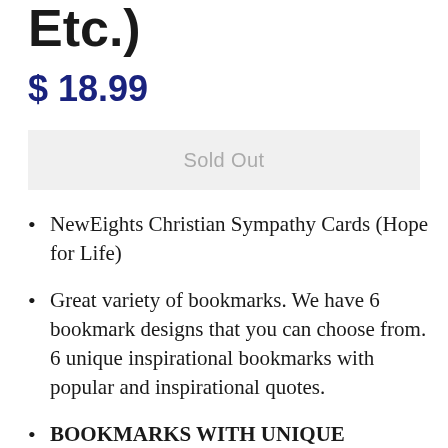Etc.)
$ 18.99
Sold Out
NewEights Christian Sympathy Cards (Hope for Life)
Great variety of bookmarks. We have 6 bookmark designs that you can choose from. 6 unique inspirational bookmarks with popular and inspirational quotes.
BOOKMARKS WITH UNIQUE DESIGNS & PRINTED ON BOTH SIDES. Front and back of the bookmark displays the quoted inspirational texts that are designed to encourage the user.